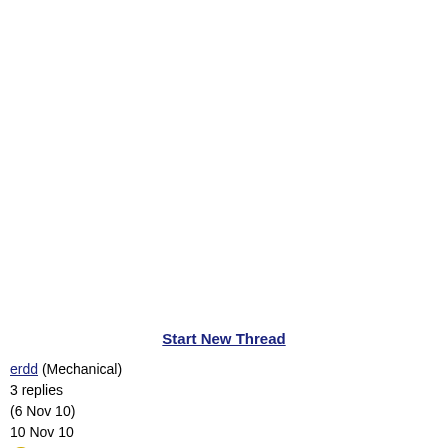Start New Thread
erdd (Mechanical)
3 replies
(6 Nov 10)
10 Nov 10
water drawoff sumps of API 650 tanks